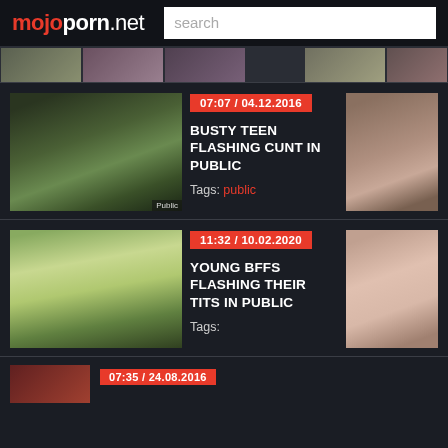mojoporn.net
[Figure (screenshot): Thumbnail strip of video previews]
[Figure (screenshot): Video thumbnail: outdoor street scene]
07:07 / 04.12.2016
BUSTY TEEN FLASHING CUNT IN PUBLIC
Tags: public
[Figure (screenshot): Side thumbnail: woman in coat]
[Figure (screenshot): Video thumbnail: young woman in park]
11:32 / 10.02.2020
YOUNG BFFS FLASHING THEIR TITS IN PUBLIC
Tags:
[Figure (screenshot): Side thumbnail: woman]
[Figure (screenshot): Bottom partial thumbnail]
07:35 / 24.08.2016